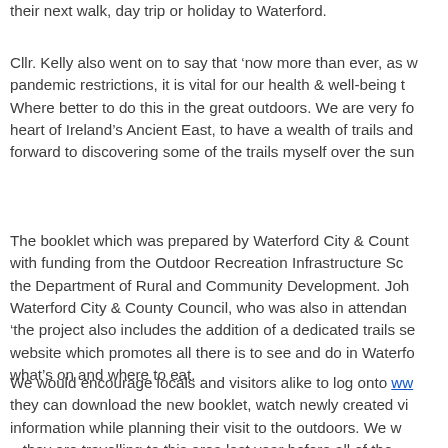their next walk, day trip or holiday to Waterford.
Cllr. Kelly also went on to say that ‘now more than ever, as we emerge from pandemic restrictions, it is vital for our health & well-being to get outside. Where better to do this in the great outdoors. We are very fortunate, in the heart of Ireland’s Ancient East, to have a wealth of trails and I look forward to discovering some of the trails myself over the summer’.
The booklet which was prepared by Waterford City & County Council, with funding from the Outdoor Recreation Infrastructure Scheme from the Department of Rural and Community Development. John ... Waterford City & County Council, who was also in attendance, said ‘the project also includes the addition of a dedicated trails section on a website which promotes all there is to see and do in Waterford including what’s on and where to eat.
We would encourage locals and visitors alike to log onto ww... they can download the new booklet, watch newly created vi... information while planning their visit to the outdoors. We w... ...they are travelling to this area last year before all of the...